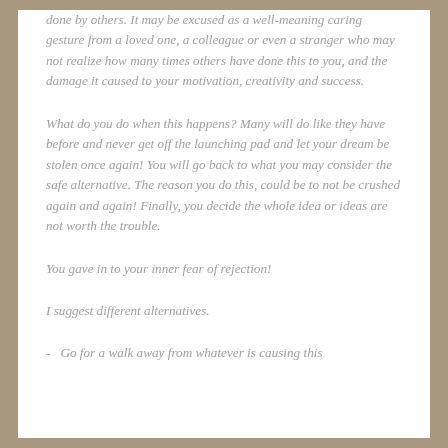done by others. It may be excused as a well-meaning caring gesture from a loved one, a colleague or even a stranger who may not realize how many times others have done this to you, and the damage it caused to your motivation, creativity and success.
What do you do when this happens? Many will do like they have before and never get off the launching pad and let your dream be stolen once again! You will go back to what you may consider the safe alternative. The reason you do this, could be to not be crushed again and again! Finally, you decide the whole idea or ideas are not worth the trouble.
You gave in to your inner fear of rejection!
I suggest different alternatives.
Go for a walk away from whatever is causing this